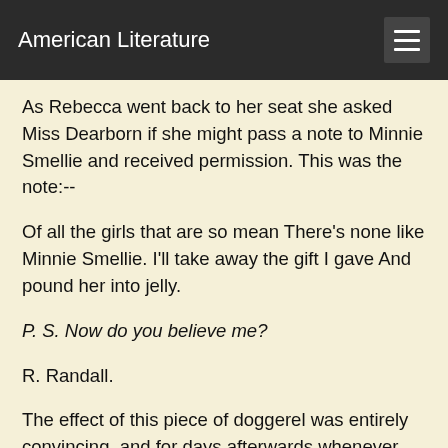American Literature
As Rebecca went back to her seat she asked Miss Dearborn if she might pass a note to Minnie Smellie and received permission. This was the note:--
Of all the girls that are so mean There's none like Minnie Smellie. I'll take away the gift I gave And pound her into jelly.
P. S. Now do you believe me?
R. Randall.
The effect of this piece of doggerel was entirely convincing, and for days afterwards whenever Minnie met the Simpsons even a mile from the brick house she shuddered and held her nose.